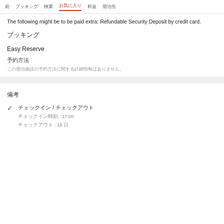前 ブッキング 検索 お気に入り 料金 宿泊先
The following might be to be paid extra: Refundable Security Deposit by credit card.
ブッキング
Easy Reserve
予約方法
この宿泊施設の予約方法に関する詳細情報はありません。
備考
チェックイン / チェックアウト
チェックイン時刻 : 17:00
チェックアウト : 18 日